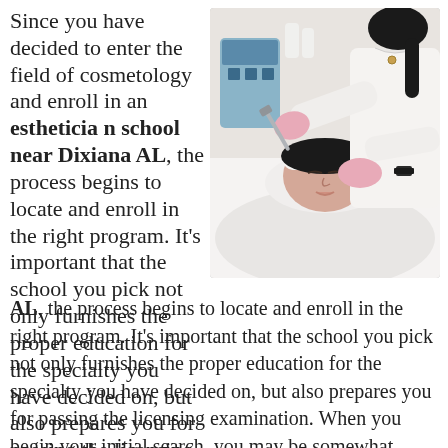Since you have decided to enter the field of cosmetology and enroll in an esthetician school near Dixiana AL, the process begins to locate and enroll in the right program. It's important that the school you pick not only furnishes the proper education for the specialty you have decided on, but also prepares you for passing the licensing examination. When you begin your initial search, you may be somewhat unclear about the contrast between beauty schools and cosmetology schools. Well don't be, because the
[Figure (photo): A woman lying on a treatment table with eyes closed receiving a facial treatment from an esthetician wearing white coat and pink gloves, holding a metal device. Clinical/spa setting with equipment in background.]